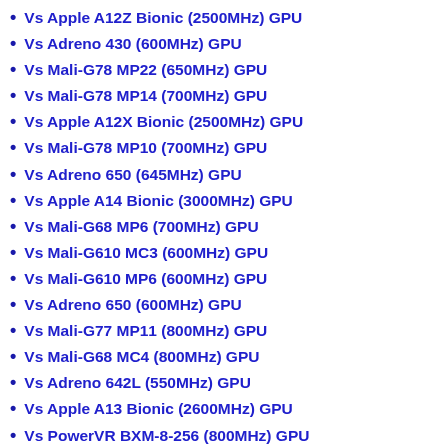Vs Apple A12Z Bionic (2500MHz) GPU
Vs Adreno 430 (600MHz) GPU
Vs Mali-G78 MP22 (650MHz) GPU
Vs Mali-G78 MP14 (700MHz) GPU
Vs Apple A12X Bionic (2500MHz) GPU
Vs Mali-G78 MP10 (700MHz) GPU
Vs Adreno 650 (645MHz) GPU
Vs Apple A14 Bionic (3000MHz) GPU
Vs Mali-G68 MP6 (700MHz) GPU
Vs Mali-G610 MC3 (600MHz) GPU
Vs Mali-G610 MP6 (600MHz) GPU
Vs Adreno 650 (600MHz) GPU
Vs Mali-G77 MP11 (800MHz) GPU
Vs Mali-G68 MC4 (800MHz) GPU
Vs Adreno 642L (550MHz) GPU
Vs Apple A13 Bionic (2600MHz) GPU
Vs PowerVR BXM-8-256 (800MHz) GPU
Vs Mali-G57 MP5 (850MHz) GPU
Vs Apple A12 Bionic (2500MHz) GPU
Vs Mali-G77 MP8 (800MHz) GPU